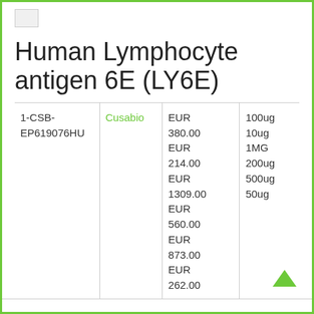[Figure (logo): Small logo image placeholder in top-left corner]
Human Lymphocyte antigen 6E (LY6E)
|  | Vendor | Price | Size |
| --- | --- | --- | --- |
| 1-CSB-EP619076HU | Cusabio | EUR 380.00
EUR 214.00
EUR 1309.00
EUR 560.00
EUR 873.00
EUR 262.00 | 100ug
10ug
1MG
200ug
500ug
50ug |